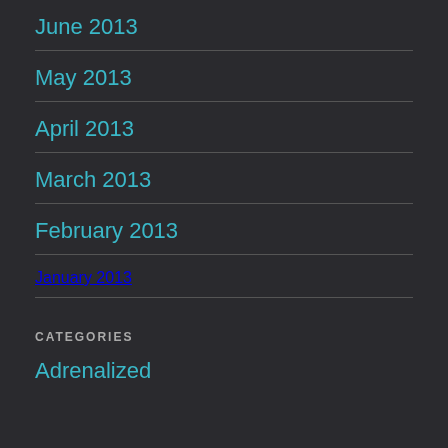June 2013
May 2013
April 2013
March 2013
February 2013
January 2013
CATEGORIES
Adrenalized